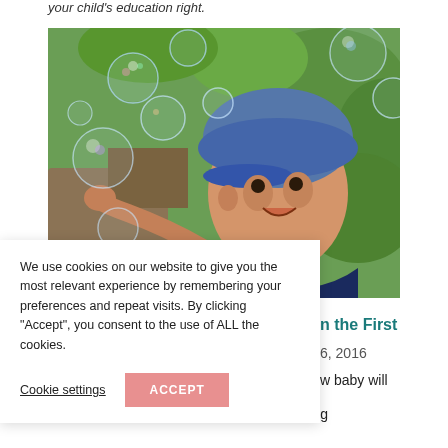your child's education right.
[Figure (photo): Young toddler boy wearing a denim cap, reaching out toward colorful soap bubbles in an outdoor green setting]
We use cookies on our website to give you the most relevant experience by remembering your preferences and repeat visits. By clicking “Accept”, you consent to the use of ALL the cookies.
Cookie settings
ACCEPT
n the First
6, 2016
w baby will
take the journey that brings him from a crying